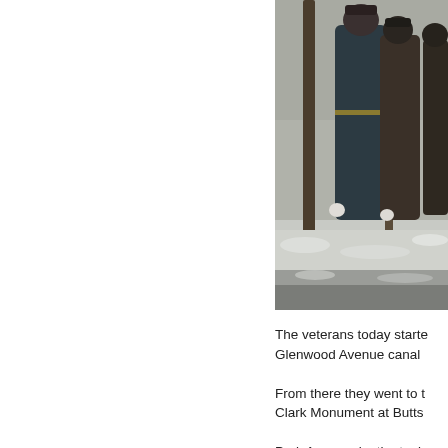[Figure (photo): Veterans standing in a group outdoors in winter, with snow on the ground and bare trees visible behind them. The figures appear to be in uniform or formal attire.]
The veterans today started Glenwood Avenue canal … From there they went to the Clark Monument at Butts … Park Avenue, by the tank …